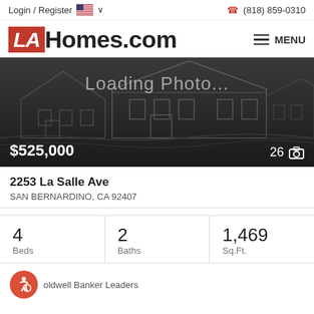Login / Register  🇺🇸 ∨    ☎ (818) 859-0310
[Figure (logo): LAHomes.com logo with red LA box and hamburger menu]
[Figure (photo): Loading Photo... placeholder with dark background house outline, price $525,000 at bottom left, 26 camera icon at bottom right]
2253 La Salle Ave
SAN BERNARDINO, CA 92407
4
Beds
2
Baths
1,469
Sq.Ft.
Coldwell Banker Leaders